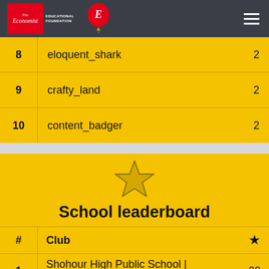The Economist Educational Foundation
| # | Name | ★ |
| --- | --- | --- |
| 8 | eloquent_shark | 2 |
| 9 | crafty_land | 2 |
| 10 | content_badger | 2 |
[Figure (illustration): Gold star outline icon]
School leaderboard
| # | Club | ★ |
| --- | --- | --- |
| 1 | Shohour High Public School | Lebanon | 20 |